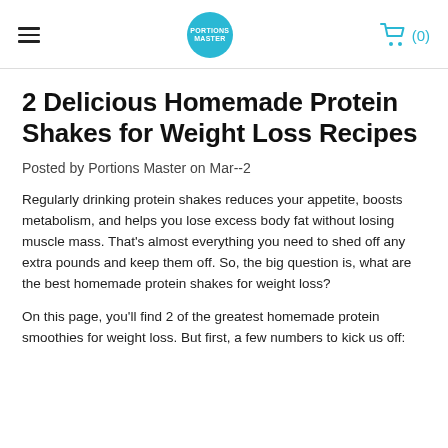PORTIONS MASTER (0)
2 Delicious Homemade Protein Shakes for Weight Loss Recipes
Posted by Portions Master on Mar--2
Regularly drinking protein shakes reduces your appetite, boosts metabolism, and helps you lose excess body fat without losing muscle mass. That's almost everything you need to shed off any extra pounds and keep them off. So, the big question is, what are the best homemade protein shakes for weight loss?
On this page, you'll find 2 of the greatest homemade protein smoothies for weight loss. But first, a few numbers to kick us off: